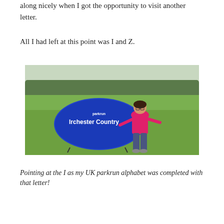along nicely when I got the opportunity to visit another letter.
All I had left at this point was I and Z.
[Figure (photo): A woman in a pink long-sleeve shirt and patterned leggings stands next to a blue oval parkrun banner reading 'Irchester Country' in an open grassy field with trees in the background. She is pointing at the banner with both arms spread wide.]
Pointing at the I as my UK parkrun alphabet was completed with that letter!